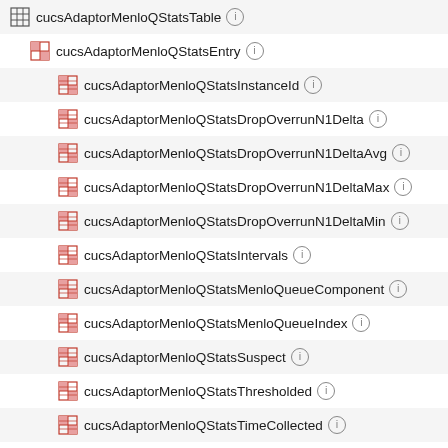cucsAdaptorMenloQStatsTable
cucsAdaptorMenloQStatsEntry
cucsAdaptorMenloQStatsInstanceId
cucsAdaptorMenloQStatsDropOverrunN1Delta
cucsAdaptorMenloQStatsDropOverrunN1DeltaAvg
cucsAdaptorMenloQStatsDropOverrunN1DeltaMax
cucsAdaptorMenloQStatsDropOverrunN1DeltaMin
cucsAdaptorMenloQStatsIntervals
cucsAdaptorMenloQStatsMenloQueueComponent
cucsAdaptorMenloQStatsMenloQueueIndex
cucsAdaptorMenloQStatsSuspect
cucsAdaptorMenloQStatsThresholded
cucsAdaptorMenloQStatsTimeCollected
cucsAdaptorMenloQStatsDn
cucsAdaptorMenloQStatsTruncateOverrunN0
cucsAdaptorMenloQStatsTruncateOverrunN0Delta